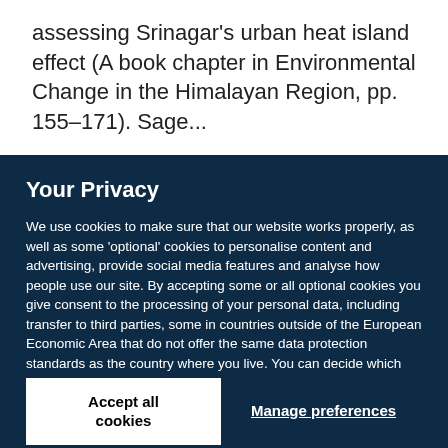assessing Srinagar's urban heat island effect (A book chapter in Environmental Change in the Himalayan Region, pp. 155–171). Sage...
Your Privacy
We use cookies to make sure that our website works properly, as well as some 'optional' cookies to personalise content and advertising, provide social media features and analyse how people use our site. By accepting some or all optional cookies you give consent to the processing of your personal data, including transfer to third parties, some in countries outside of the European Economic Area that do not offer the same data protection standards as the country where you live. You can decide which optional cookies to accept by clicking on 'Manage Settings', where you can also find more information about how your personal data is processed. Further information can be found in our privacy policy.
Accept all cookies
Manage preferences